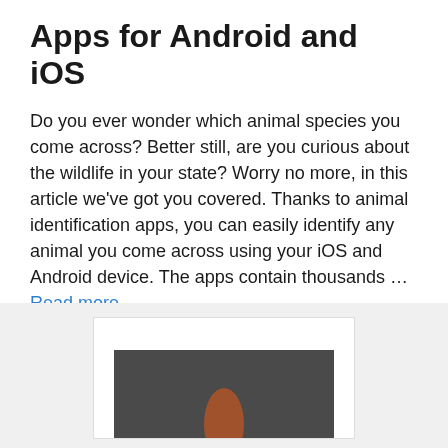Apps for Android and iOS
Do you ever wonder which animal species you come across? Better still, are you curious about the wildlife in your state? Worry no more, in this article we've got you covered. Thanks to animal identification apps, you can easily identify any animal you come across using your iOS and Android device. The apps contain thousands … Read more
[Figure (photo): A card or device showing a hand or animal identification image, displayed in a light gray section at the bottom of the page.]